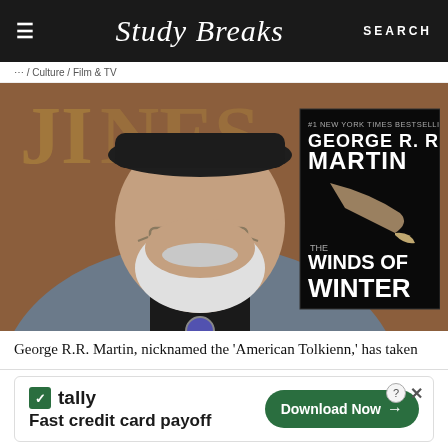Study Breaks — SEARCH
... / Culture / Film & TV
[Figure (photo): George R.R. Martin wearing a black flat cap and glasses with a white beard, in a grey blazer and black tie with a purple medallion. Behind him is a book cover for 'The Winds of Winter' by George R.R. Martin. Background shows a red-brown step-and-repeat backdrop.]
George R.R. Martin, nicknamed the 'American Tolkienn,' has taken
[Figure (infographic): Tally advertisement: 'Fast credit card payoff' with a green Download Now button and close/help icons.]